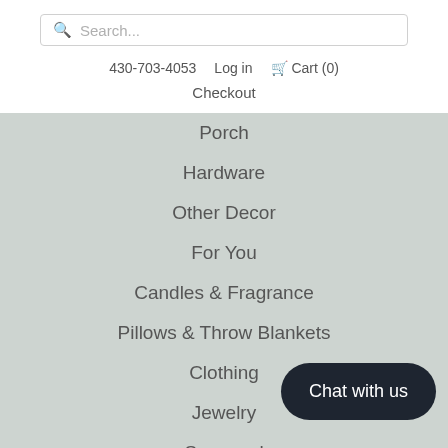Search...
430-703-4053  Log in  Cart (0)
Checkout
Porch
Hardware
Other Decor
For You
Candles & Fragrance
Pillows & Throw Blankets
Clothing
Jewelry
Seasonal
Chat with us